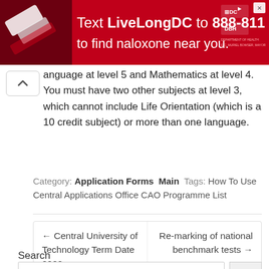[Figure (photo): Red advertisement banner: 'Text LiveLongDC to 888-811 to find naloxone near you.' with DC and DBH logos and a photo of hands holding a medication box on the left.]
language at level 5 and Mathematics at level 4. You must have two other subjects at level 3, which cannot include Life Orientation (which is a 10 credit subject) or more than one language.
Category: Application Forms  Main  Tags: How To Use Central Applications Office CAO Programme List
← Central University of Technology Term Date 2022
Re-marking of national benchmark tests →
Search